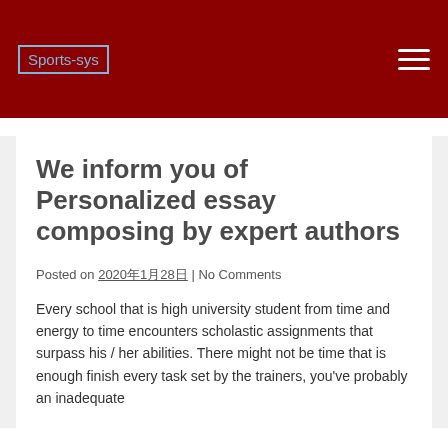Sports-sys
We inform you of Personalized essay composing by expert authors
Posted on 2020年1月28日 | No Comments
Every school that is high university student from time and energy to time encounters scholastic assignments that surpass his / her abilities. There might not be time that is enough finish every task set by the trainers, you've probably an inadequate